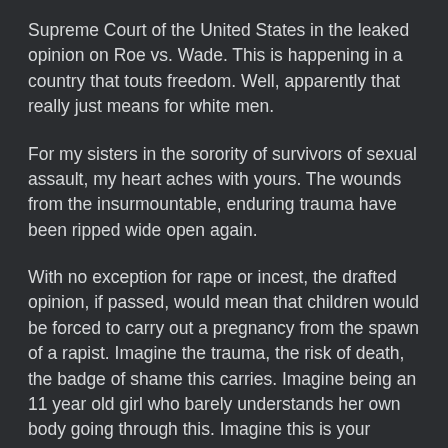Supreme Court of the United States in the leaked opinion on Roe vs. Wade. This is happening in a country that touts freedom. Well, apparently that really just means for white men.
For my sisters in the sorority of survivors of sexual assault, my heart aches with yours. The wounds from the insurmountable, enduring trauma have been ripped wide open again.
With no exception for rape or incest, the drafted opinion, if passed, would mean that children would be forced to carry out a pregnancy from the spawn of a rapist. Imagine the trauma, the risk of death, the badge of shame this carries. Imagine being an 11 year old girl who barely understands her own body going through this. Imagine this is your daughter.